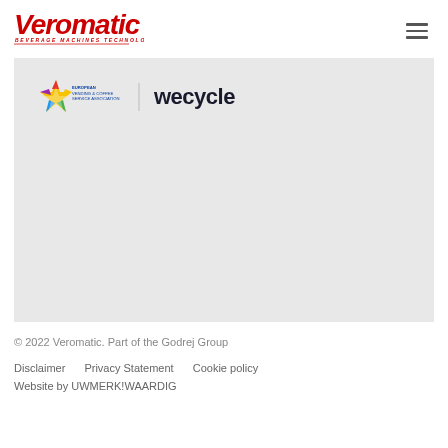[Figure (logo): Veromatic Beverage Machines Technology logo in red italic text]
[Figure (illustration): Gray content box containing European Vending & Coffee Service Association logo with star icon and Wecycle logo in dark text]
© 2022 Veromatic. Part of the Godrej Group
Disclaimer    Privacy Statement    Cookie policy
Website by UWMERK!WAARDIG